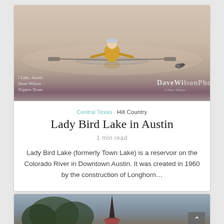[Figure (photo): Person rowing a single scull on a calm misty lake, seen from behind, wearing yellow jacket. Watermark text: Lady Bird Lake, Austin / Dave Wilson / Trippin Texas and DaveWilsonPhoto logo on the right.]
Central Texas · Hill Country
Lady Bird Lake in Austin
1 min read
Lady Bird Lake (formerly Town Lake) is a reservoir on the Colorado River in Downtown Austin. It was created in 1960 by the construction of Longhorn...
[Figure (photo): Partial view of a church or building with a steeple/spire against a cloudy sky, with trees visible. Dark reddish roof visible at bottom.]